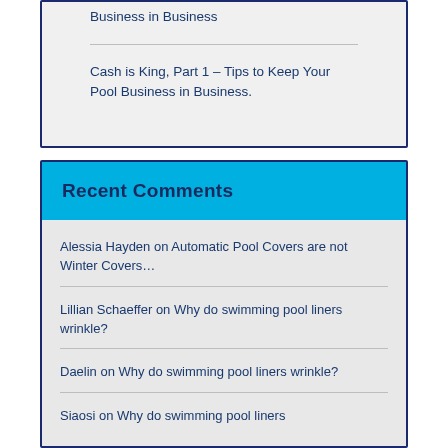Business in Business
Cash is King, Part 1 – Tips to Keep Your Pool Business in Business.
Recent Comments
Alessia Hayden on Automatic Pool Covers are not Winter Covers…
Lillian Schaeffer on Why do swimming pool liners wrinkle?
Daelin on Why do swimming pool liners wrinkle?
Siaosi on Why do swimming pool liners